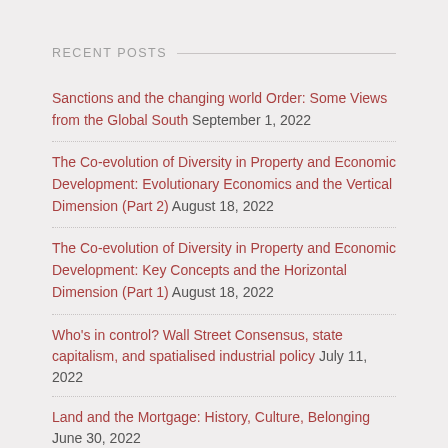RECENT POSTS
Sanctions and the changing world Order: Some Views from the Global South September 1, 2022
The Co-evolution of Diversity in Property and Economic Development: Evolutionary Economics and the Vertical Dimension (Part 2) August 18, 2022
The Co-evolution of Diversity in Property and Economic Development: Key Concepts and the Horizontal Dimension (Part 1) August 18, 2022
Who's in control? Wall Street Consensus, state capitalism, and spatialised industrial policy July 11, 2022
Land and the Mortgage: History, Culture, Belonging June 30, 2022